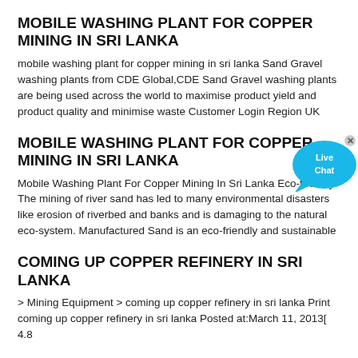MOBILE WASHING PLANT FOR COPPER MINING IN SRI LANKA
mobile washing plant for copper mining in sri lanka Sand Gravel washing plants from CDE Global,CDE Sand Gravel washing plants are being used across the world to maximise product yield and product quality and minimise waste Customer Login Region UK
[Figure (illustration): Live Chat bubble widget with close button]
MOBILE WASHING PLANT FOR COPPER MINING IN SRI LANKA
Mobile Washing Plant For Copper Mining In Sri Lanka Eco-friendly- The mining of river sand has led to many environmental disasters like erosion of riverbed and banks and is damaging to the natural eco-system. Manufactured Sand is an eco-friendly and sustainable
COMING UP COPPER REFINERY IN SRI LANKA
> Mining Equipment > coming up copper refinery in sri lanka Print coming up copper refinery in sri lanka Posted at:March 11, 2013[ 4.8